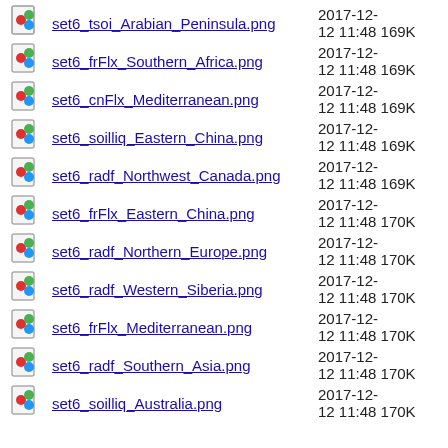set6_tsoi_Arabian_Peninsula.png  2017-12-12 11:48  169K
set6_frFlx_Southern_Africa.png  2017-12-12 11:48  169K
set6_cnFlx_Mediterranean.png  2017-12-12 11:48  169K
set6_soilliq_Eastern_China.png  2017-12-12 11:48  169K
set6_radf_Northwest_Canada.png  2017-12-12 11:48  169K
set6_frFlx_Eastern_China.png  2017-12-12 11:48  170K
set6_radf_Northern_Europe.png  2017-12-12 11:48  170K
set6_radf_Western_Siberia.png  2017-12-12 11:48  170K
set6_frFlx_Mediterranean.png  2017-12-12 11:48  170K
set6_radf_Southern_Asia.png  2017-12-12 11:48  170K
set6_soilliq_Australia.png  2017-12-12 11:48  170K